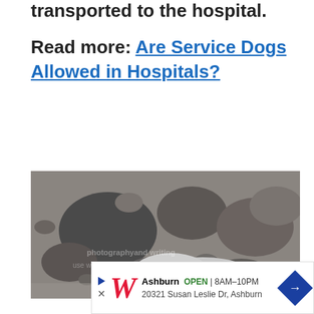transported to the hospital.
Read more: Are Service Dogs Allowed in Hospitals?
[Figure (photo): A dog lying among rocks on a rocky beach or riverbed, viewed from above.]
[Figure (other): Advertisement bar for Walgreens in Ashburn: OPEN 8AM-10PM, 20321 Susan Leslie Dr, Ashburn]